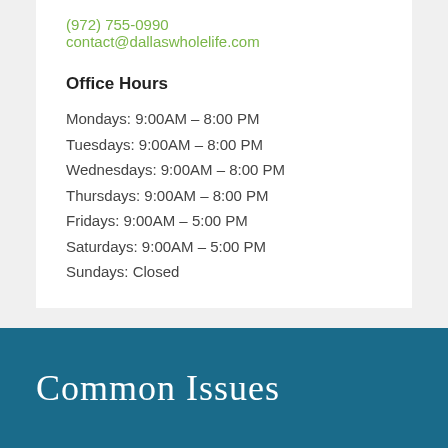(972) 755-0990
contact@dallaswholelife.com
Office Hours
Mondays: 9:00AM – 8:00 PM
Tuesdays: 9:00AM – 8:00 PM
Wednesdays: 9:00AM – 8:00 PM
Thursdays: 9:00AM – 8:00 PM
Fridays: 9:00AM – 5:00 PM
Saturdays: 9:00AM – 5:00 PM
Sundays: Closed
Common Issues